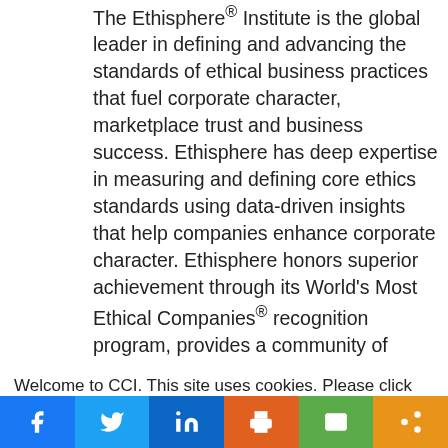The Ethisphere® Institute is the global leader in defining and advancing the standards of ethical business practices that fuel corporate character, marketplace trust and business success. Ethisphere has deep expertise in measuring and defining core ethics standards using data-driven insights that help companies enhance corporate character. Ethisphere honors superior achievement through its World's Most Ethical Companies® recognition program, provides a community of industry experts with the
Welcome to CCI. This site uses cookies. Please click OK to accept. Privacy Policy
Cookie settings   ACCEPT
[Figure (other): Social sharing bar with Facebook, Twitter, LinkedIn, Print, Email, and Share icons]